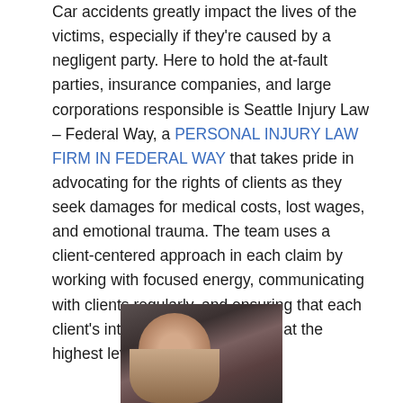Car accidents greatly impact the lives of the victims, especially if they're caused by a negligent party. Here to hold the at-fault parties, insurance companies, and large corporations responsible is Seattle Injury Law – Federal Way, a PERSONAL INJURY LAW FIRM IN FEDERAL WAY that takes pride in advocating for the rights of clients as they seek damages for medical costs, lost wages, and emotional trauma. The team uses a client-centered approach in each claim by working with focused energy, communicating with clients regularly, and ensuring that each client's interests are represented at the highest level.
[Figure (photo): Photo of a distressed woman sitting in a car, covering her face with her hands, suggesting emotional distress after a car accident.]